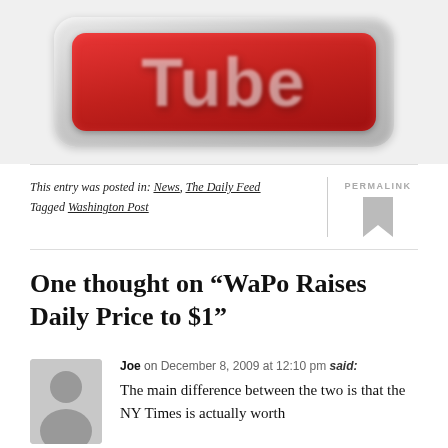[Figure (logo): Partial YouTube logo — red rounded rectangle with white 'Tube' text, set against a light grey rounded background, cropped at top]
This entry was posted in: News, The Daily Feed
Tagged Washington Post
PERMALINK
One thought on “WaPo Raises Daily Price to $1”
Joe on December 8, 2009 at 12:10 pm said:
The main difference between the two is that the NY Times is actually worth